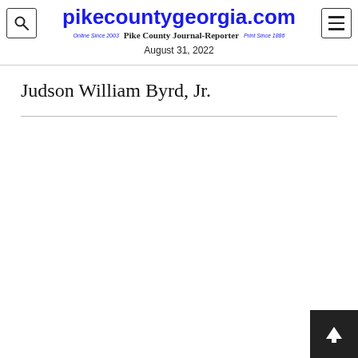pikecountygeorgia.com — Pike County Journal-Reporter — Online Since 2003 — Print Since 1886 — August 31, 2022
Judson William Byrd, Jr.